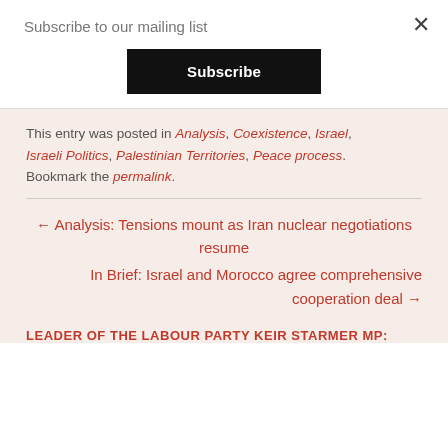Subscribe to our mailing list
Subscribe
This entry was posted in Analysis, Coexistence, Israel, Israeli Politics, Palestinian Territories, Peace process. Bookmark the permalink.
← Analysis: Tensions mount as Iran nuclear negotiations resume
In Brief: Israel and Morocco agree comprehensive cooperation deal →
LEADER OF THE LABOUR PARTY KEIR STARMER MP: